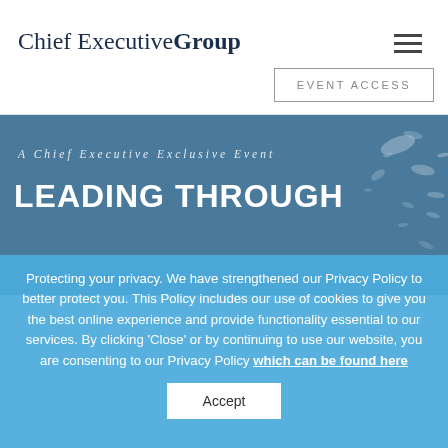Chief Executive Group
EVENT ACCESS
[Figure (illustration): Hero background image with blue-grey ocean or aerial texture, splatter/spray effect on top-right, with italic text 'A Chief Executive Exclusive Event' and large bold heading 'LEADING THROUGH']
Protecting your privacy. We have strengthened our Privacy Policy to better protect you. This Policy includes our use of cookies to give you the best online experience and provide functionality essential to our services. By clicking 'Close' or by continuing to use our website, you are consenting to our Privacy Policy which can be found here
Accept